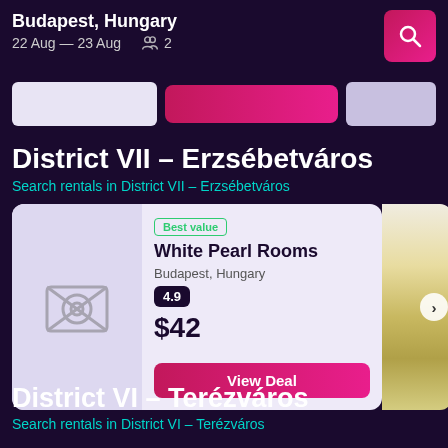Budapest, Hungary
22 Aug — 23 Aug  2
District VII – Erzsébetváros
Search rentals in District VII – Erzsébetváros
[Figure (screenshot): Hotel listing card for White Pearl Rooms showing Best value badge, rating 4.9, price $42, and View Deal button]
District VI – Terézváros
Search rentals in District VI – Terézváros